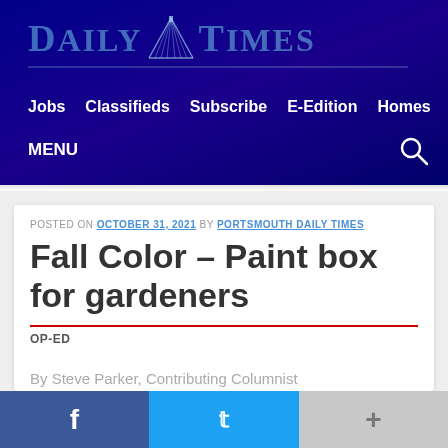[Figure (logo): Daily Times newspaper logo with bridge graphic on dark blue background]
Jobs  Classifieds  Subscribe  E-Edition  Homes
MENU
POSTED ON OCTOBER 31, 2021 BY PORTSMOUTH DAILY TIMES
Fall Color – Paint box for gardeners
OP-ED
By Steve Parker, Contributing Columnist